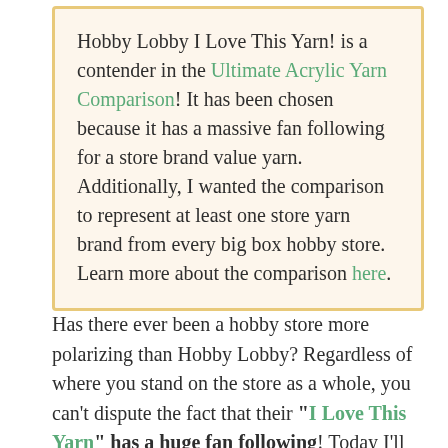Hobby Lobby I Love This Yarn! is a contender in the Ultimate Acrylic Yarn Comparison! It has been chosen because it has a massive fan following for a store brand value yarn. Additionally, I wanted the comparison to represent at least one store yarn brand from every big box hobby store. Learn more about the comparison here.
Has there ever been a hobby store more polarizing than Hobby Lobby? Regardless of where you stand on the store as a whole, you can't dispute the fact that their "I Love This Yarn" has a huge fan following! Today I'll give you a rundown of this popular acrylic value yarn